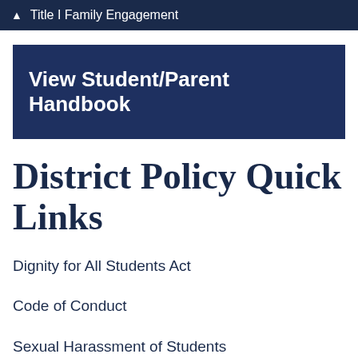Title I Family Engagement
View Student/Parent Handbook
District Policy Quick Links
Dignity for All Students Act
Code of Conduct
Sexual Harassment of Students